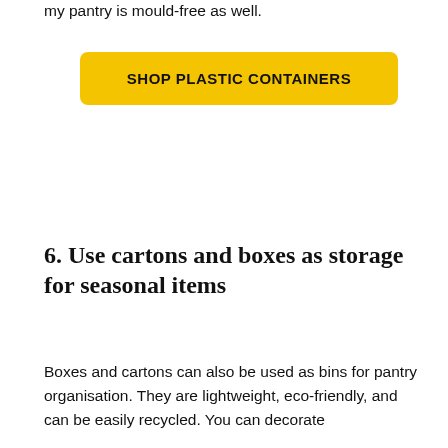my pantry is mould-free as well.
SHOP PLASTIC CONTAINERS
6. Use cartons and boxes as storage for seasonal items
Boxes and cartons can also be used as bins for pantry organisation. They are lightweight, eco-friendly, and can be easily recycled. You can decorate